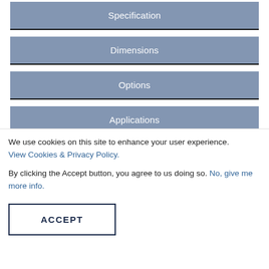Specification
Dimensions
Options
Applications
We use cookies on this site to enhance your user experience. View Cookies & Privacy Policy.
By clicking the Accept button, you agree to us doing so. No, give me more info.
ACCEPT